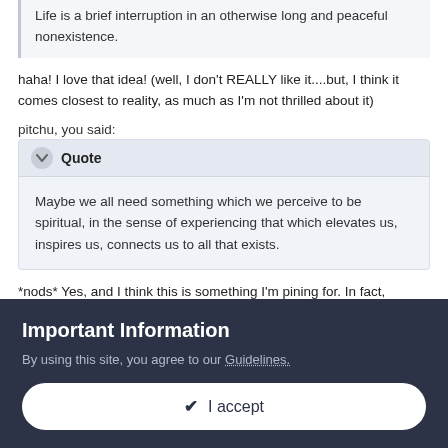Life is a brief interruption in an otherwise long and peaceful nonexistence.
haha! I love that idea! (well, I don't REALLY like it....but, I think it comes closest to reality, as much as I'm not thrilled about it)
pitchu, you said:
Maybe we all need something which we perceive to be spiritual, in the sense of experiencing that which elevates us, inspires us, connects us to all that exists.
*nods* Yes, and I think this is something I'm pining for. In fact,
Important Information
By using this site, you agree to our Guidelines.
I accept